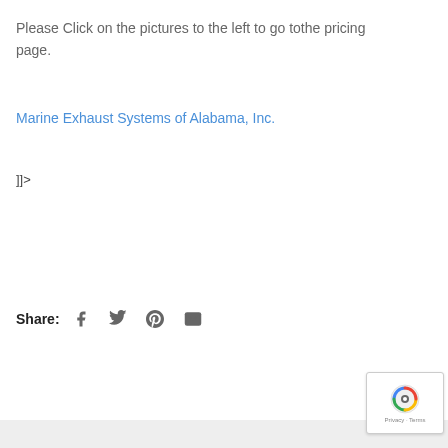Please Click on the pictures to the left to go tothe pricing page.
Marine Exhaust Systems of Alabama, Inc.
]]>
Share: